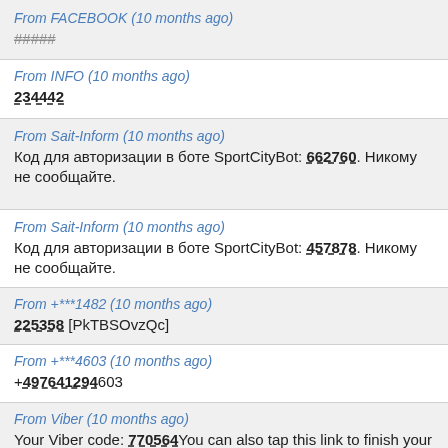From FACEBOOK (10 months ago)
#####
From INFO (10 months ago)
234442
From Sait-Inform (10 months ago)
Код для авторизации в боте SportCityBot: 662760. Никому не сообщайте.
From Sait-Inform (10 months ago)
Код для авторизации в боте SportCityBot: 457878. Никому не сообщайте.
From +***1482 (10 months ago)
225358 [PkTBSOvzQc]
From +***4603 (10 months ago)
+497641294603
From Viber (10 months ago)
Your Viber code: 770564You can also tap this link to finish your